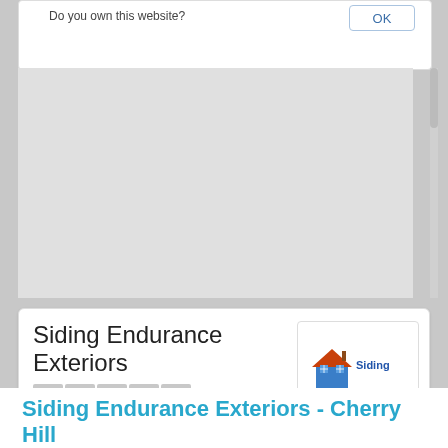Do you own this website?
OK
[Figure (map): Gray map placeholder area]
Siding Endurance Exteriors
Review now
811 Church Road Suite 106 , Cherry Hill- 08002
New Jersey ,   United States
[Figure (logo): Siding Endurance Exteriors logo with house icon and blue/orange colors]
Contact
Write a Review
Today (Tuesday) Open 8:00 AM to 5:00 PM
Siding Endurance Exteriors - Cherry Hill